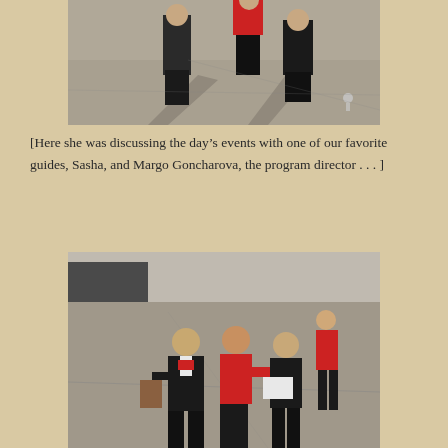[Figure (photo): Outdoor photo showing people standing on a paved surface, shot from above/side angle, two people in dark clothing and one in a red top, shadows visible, small trophy or object on ground to the right.]
[Here she was discussing the day’s events with one of our favorite guides, Sasha, and Margo Goncharova, the program director . . . ]
[Figure (photo): Outdoor photo of four people on a paved surface. Three people in foreground appear to be reviewing documents together — two in dark blazers and one in a red polo. A fourth person in a red top stands in the background.]